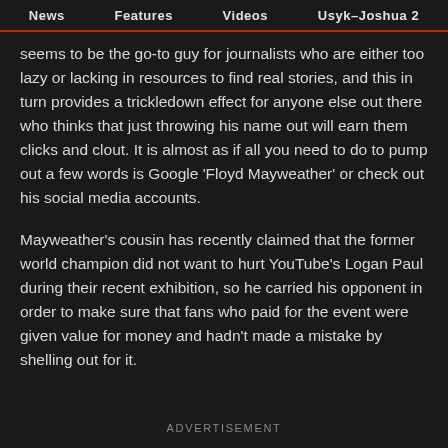News  Features  Videos  Usyk–Joshua 2
seems to be the go-to guy for journalists who are either too lazy or lacking in resources to find real stories, and this in turn provides a trickledown effect for anyone else out there who thinks that just throwing his name out will earn them clicks and clout. It is almost as if all you need to do to pump out a few words is Google 'Floyd Mayweather' or check out his social media accounts.
Mayweather's cousin has recently claimed that the former world champion did not want to hurt YouTube's Logan Paul during their recent exhibition, so he carried his opponent in order to make sure that fans who paid for the event were given value for money and hadn't made a mistake by shelling out for it.
ADVERTISEMENT